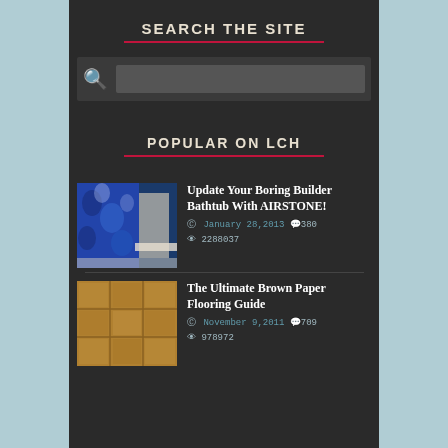SEARCH THE SITE
[Figure (screenshot): Search bar with magnifying glass icon and dark input field]
POPULAR ON LCH
[Figure (photo): Bathroom with blue floral shower curtain and bathtub with airstone tile]
Update Your Boring Builder Bathtub With AIRSTONE!
January 28, 2013  380  2288037
[Figure (photo): Brown paper flooring close-up showing textured tile-like pattern]
The Ultimate Brown Paper Flooring Guide
November 9, 2011  709  978972